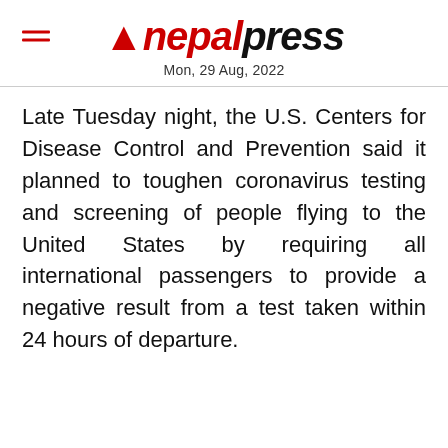nepalpress — Mon, 29 Aug, 2022
Late Tuesday night, the U.S. Centers for Disease Control and Prevention said it planned to toughen coronavirus testing and screening of people flying to the United States by requiring all international passengers to provide a negative result from a test taken within 24 hours of departure.